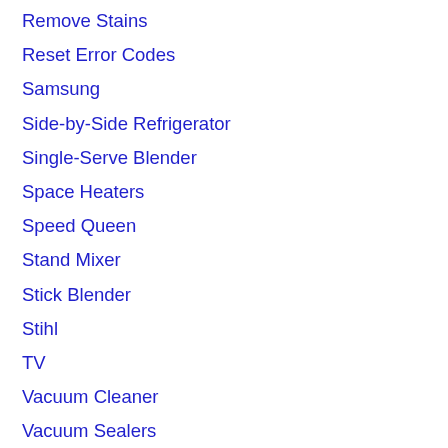Remove Stains
Reset Error Codes
Samsung
Side-by-Side Refrigerator
Single-Serve Blender
Space Heaters
Speed Queen
Stand Mixer
Stick Blender
Stihl
TV
Vacuum Cleaner
Vacuum Sealers
Vegetable Steamer
Vitamix